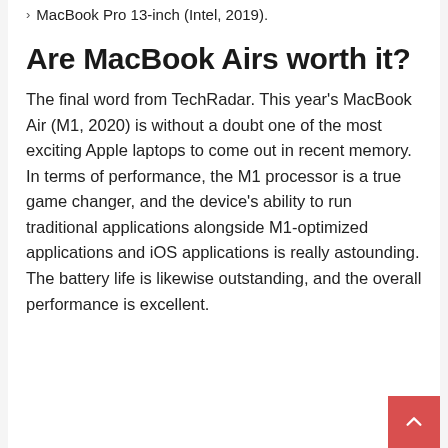MacBook Pro 13-inch (Intel, 2019).
Are MacBook Airs worth it?
The final word from TechRadar. This year's MacBook Air (M1, 2020) is without a doubt one of the most exciting Apple laptops to come out in recent memory. In terms of performance, the M1 processor is a true game changer, and the device's ability to run traditional applications alongside M1-optimized applications and iOS applications is really astounding. The battery life is likewise outstanding, and the overall performance is excellent.